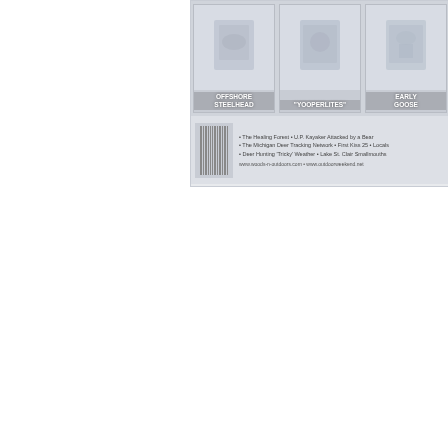[Figure (illustration): Magazine or media advertisement showing three card-style panels at top: 'Offshore Steelhead', 'Yooperlites', and 'Early Goose'. Below the panels is a bottom bar with a barcode on the left and bullet-point text listing topics including 'The Healing Forest', 'U.P. Kayaker Attacked by a Bear', 'The Michigan Deer Tracking Network', 'First Kiss 25', 'Locals', 'Deer Hunting Tricky Weather', 'Lake St. Clair Smallmouths', followed by website URLs: www.woods-n-outdoors.com and www.outdoorweekend.net]